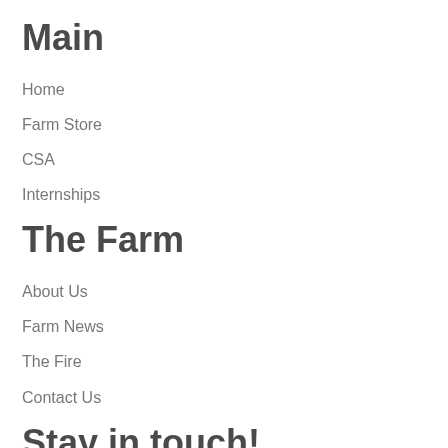Main
Home
Farm Store
CSA
Internships
The Farm
About Us
Farm News
The Fire
Contact Us
Stay in touch!